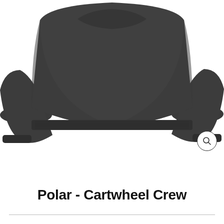[Figure (photo): Dark charcoal grey crew neck sweatshirt laid flat on white background, showing front torso and sleeves with ribbed cuffs and hem band]
Polar - Cartwheel Crew